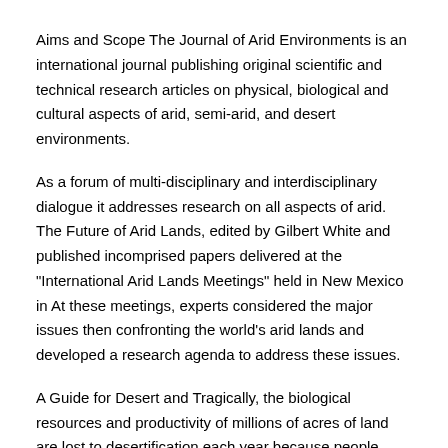Aims and Scope The Journal of Arid Environments is an international journal publishing original scientific and technical research articles on physical, biological and cultural aspects of arid, semi-arid, and desert environments.
As a forum of multi-disciplinary and interdisciplinary dialogue it addresses research on all aspects of arid. The Future of Arid Lands, edited by Gilbert White and published incomprised papers delivered at the "International Arid Lands Meetings" held in New Mexico in At these meetings, experts considered the major issues then confronting the world's arid lands and developed a research agenda to address these issues.
A Guide for Desert and Tragically, the biological resources and productivity of millions of acres of land are lost to desertification each year because people remain unaware of strategies and techniques that could improve yields, reduce risk, and begin healing the world's deserts/5(2).
ALl research focuses on hydrologic urbanisms, soft infrastructures...